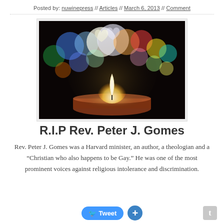Posted by: nuwinepress // Articles // March 6, 2013 // Comment
[Figure (photo): Candle with colorful heart-shaped bokeh lights in the background on a dark background]
R.I.P Rev. Peter J. Gomes
Rev. Peter J. Gomes was a Harvard minister, an author, a theologian and a “Christian who also happens to be Gay.” He was one of the most prominent voices against religious intolerance and discrimination.